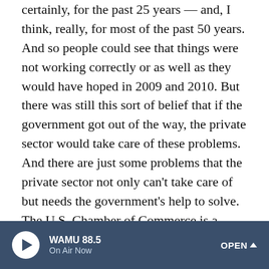certainly, for the past 25 years — and, I think, really, for most of the past 50 years. And so people could see that things were not working correctly or as well as they would have hoped in 2009 and 2010. But there was still this sort of belief that if the government got out of the way, the private sector would take care of these problems. And there are just some problems that the private sector not only can't take care of but needs the government's help to solve. The U.S. Chamber of Commerce is a conservative and, I think, broadly Republican Party-aligned institution. It's an organization of big business executives. And that organization has been pushing for a large infrastructure bill for quite some time now even though it constitutes big government spending.

KING: But this is an interesting point you make about the
WAMU 88.5 On Air Now OPEN